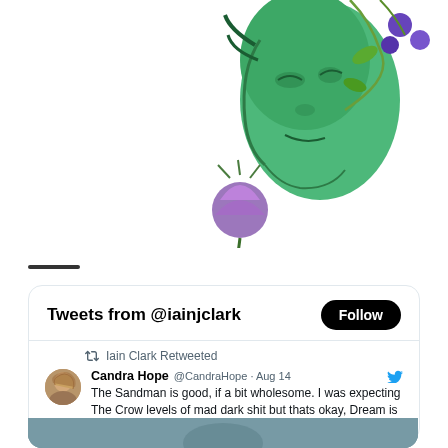[Figure (illustration): Green face illustration with purple flowers and vines on a white background, partially cropped at top]
Tweets from @iainjclark
Iain Clark Retweeted
Candra Hope @CandraHope · Aug 14
The Sandman is good, if a bit wholesome. I was expecting The Crow levels of mad dark shit but thats okay, Dream is hot and Lucifer reminds me why I'm a bit in love with Gwendoline Christie. And all my ravens are called Matthew now 🖤
[Figure (screenshot): Partial preview image at bottom of tweet card, teal/gray colored]